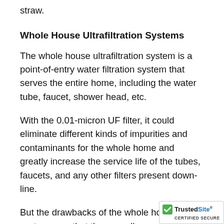straw.
Whole House Ultrafiltration Systems
The whole house ultrafiltration system is a point-of-entry water filtration system that serves the entire home, including the water tube, faucet, shower head, etc.
With the 0.01-micron UF filter, it could eliminate different kinds of impurities and contaminants for the whole home and greatly increase the service life of the tubes, faucets, and any other filters present down-line.
But the drawbacks of the whole house systems are that they usually need to be installed wh... build the house. Furthermore, they are no...